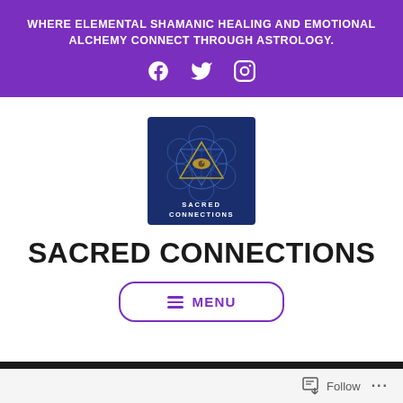WHERE ELEMENTAL SHAMANIC HEALING AND EMOTIONAL ALCHEMY CONNECT THROUGH ASTROLOGY.
[Figure (logo): Three social media icons: Facebook, Twitter, Instagram in white on purple background]
[Figure (logo): Sacred Connections logo: blue square with geometric sacred geometry pattern (Metatron's Cube) with an eye inside a triangle, text 'SACRED CONNECTIONS' below]
SACRED CONNECTIONS
≡ MENU
Follow